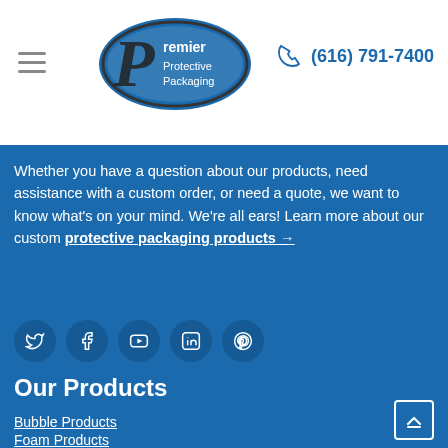[Figure (logo): Premier Protective Packaging oval logo with stylized P]
(616) 791-7400
Whether you have a question about our products, need assistance with a custom order, or need a quote, we want to know what's on your mind. We're all ears! Learn more about our custom protective packaging products →
[Figure (infographic): Social media icons row: Twitter, Facebook, YouTube, LinkedIn, Pinterest]
Our Products
Bubble Products
Foam Products
Spun Bonded Polypropylene